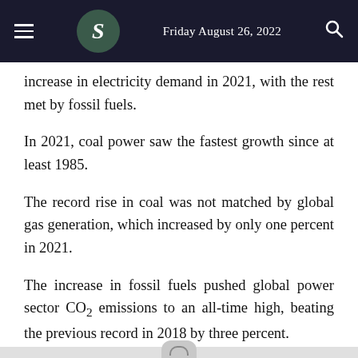Friday August 26, 2022
increase in electricity demand in 2021, with the rest met by fossil fuels.
In 2021, coal power saw the fastest growth since at least 1985.
The record rise in coal was not matched by global gas generation, which increased by only one percent in 2021.
The increase in fossil fuels pushed global power sector CO2 emissions to an all-time high, beating the previous record in 2018 by three percent.
Even though, wind and solar generation grew by 17